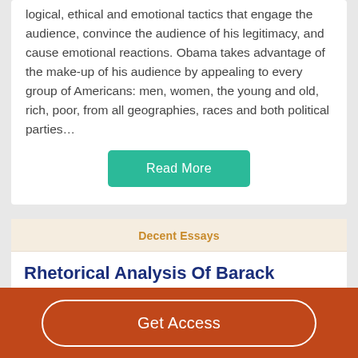logical, ethical and emotional tactics that engage the audience, convince the audience of his legitimacy, and cause emotional reactions. Obama takes advantage of the make-up of his audience by appealing to every group of Americans: men, women, the young and old, rich, poor, from all geographies, races and both political parties…
Read More
Decent Essays
Rhetorical Analysis Of Barack Obama
725 Words
Get Access